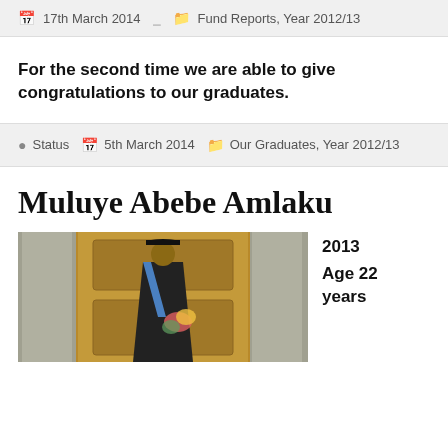17th March 2014  Fund Reports, Year 2012/13
For the second time we are able to give congratulations to our graduates.
Status  5th March 2014  Our Graduates, Year 2012/13
Muluye Abebe Amlaku
[Figure (photo): A graduate in cap and gown with a blue sash, holding flowers, standing in front of an ornate wooden door]
2013
Age 22 years